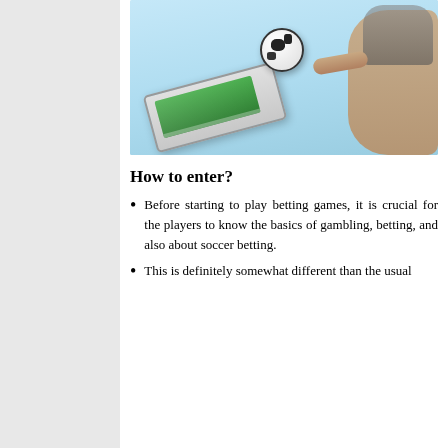[Figure (photo): A person holding a smartphone/tablet with a soccer field and ball appearing to emerge from the screen, set against a light blue background. Depicts mobile sports betting concept.]
How to enter?
Before starting to play betting games, it is crucial for the players to know the basics of gambling, betting, and also about soccer betting.
This is definitely somewhat different than the usual